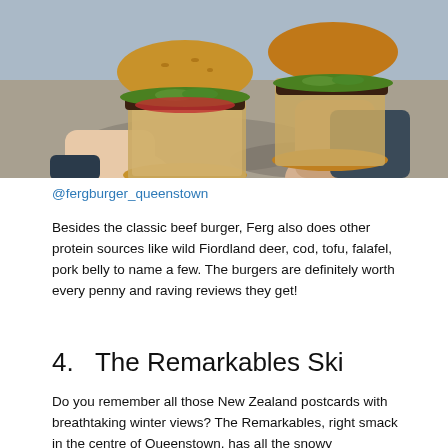[Figure (photo): Two hands holding large burgers wrapped in brown paper, held up outdoors against a pavement background with shadows. The burgers are stacked high with greens and patties.]
@fergburger_queenstown
Besides the classic beef burger, Ferg also does other protein sources like wild Fiordland deer, cod, tofu, falafel, pork belly to name a few. The burgers are definitely worth every penny and raving reviews they get!
4.   The Remarkables Ski
Do you remember all those New Zealand postcards with breathtaking winter views? The Remarkables, right smack in the centre of Queenstown, has all the snowy experience you're looking for. Head there for some ski or snowboarding sessions. If this is your first time ever, guides are available to teach you on